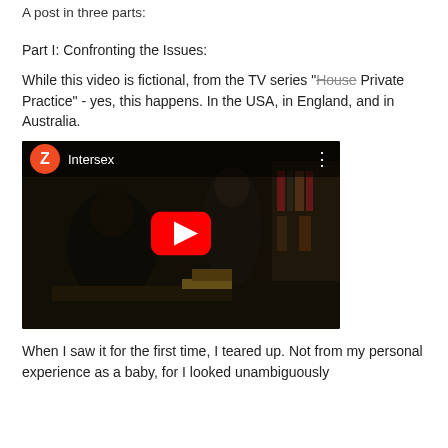A post in three parts:
Part I: Confronting the Issues:
While this video is fictional, from the TV series "House Private Practice" - yes, this happens. In the USA, in England, and in Australia.
[Figure (screenshot): YouTube video thumbnail showing two people in a dark room, with a YouTube play button overlay. Title bar shows 'Intersex' with a Z avatar icon in orange.]
When I saw it for the first time, I teared up. Not from my personal experience as a baby, for I looked unambiguously